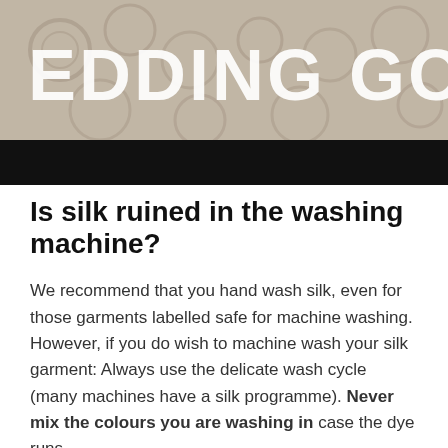[Figure (photo): Top portion of a wedding gown article header image showing lace fabric texture with large text overlay reading 'EDDING GOWN' (partial, cropped), with a black bar below the image.]
Is silk ruined in the washing machine?
We recommend that you hand wash silk, even for those garments labelled safe for machine washing. However, if you do wish to machine wash your silk garment: Always use the delicate wash cycle (many machines have a silk programme). Never mix the colours you are washing in case the dye runs.
Is Woolite good for silk?
Product Description. Woolite® Delicates laundry detergent is